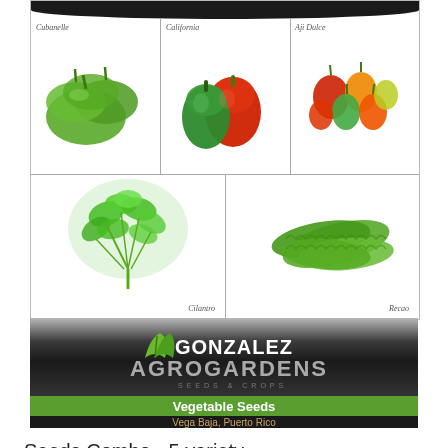[Figure (photo): Product grid showing 5 varieties of vegetables/herbs: Cubanelle peppers, California peppers, Aji Dulce peppers (top row), Cilantro herb and Recao herb (middle row), with Gonzalez Agrogardens Seeds & Crops logo banner at bottom showing 'Vegetable Seeds' and 'Vega Baja, Puerto Rico']
Seeds Combo - 5 variety
(culantro-coriander + 3